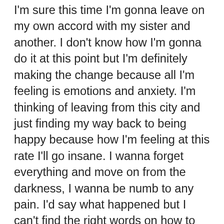I'm sure this time I'm gonna leave on my own accord with my sister and another. I don't know how I'm gonna do it at this point but I'm definitely making the change because all I'm feeling is emotions and anxiety. I'm thinking of leaving from this city and just finding my way back to being happy because how I'm feeling at this rate I'll go insane. I wanna forget everything and move on from the darkness, I wanna be numb to any pain. I'd say what happened but I can't find the right words on how to put it into perspective and still come off as letting it go so we can move forward with our lives. I cry at night because it's the only peace I have to myself without anyone seeing my vulnerability. I don't give a shit about what others may think of me but I also wanna make the best decision for me and my sister. It's 4:00am as I type this because I have a tough time sleeping now that I'm in this state of depression. I want my life to get better and I'm gonna make it happen by doing what I can with my own wits. I won't let anyone bring me down or try to